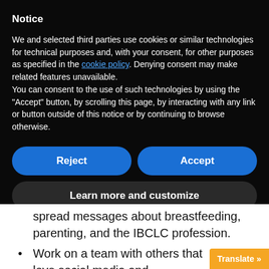Notice
We and selected third parties use cookies or similar technologies for technical purposes and, with your consent, for other purposes as specified in the cookie policy. Denying consent may make related features unavailable.
You can consent to the use of such technologies by using the “Accept” button, by scrolling this page, by interacting with any link or button outside of this notice or by continuing to browse otherwise.
Reject
Accept
Learn more and customize
spread messages about breastfeeding, parenting, and the IBCLC profession.
Work on a team with others that love social media and breastfeeding as mu
Translate »